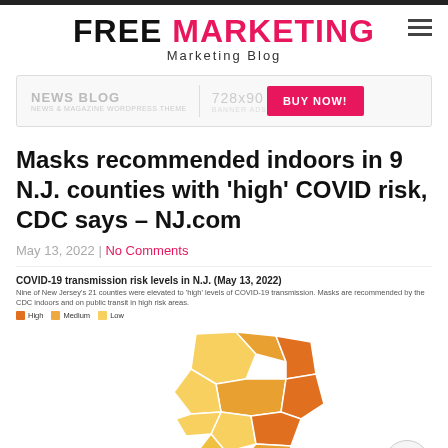FREE MARKETING — Marketing Blog
[Figure (infographic): Advertisement banner: NEWS BLOG | 728x90 | BUY NOW!]
Masks recommended indoors in 9 N.J. counties with 'high' COVID risk, CDC says – NJ.com
May 13, 2022 | No Comments
[Figure (map): COVID-19 transmission risk levels in N.J. (May 13, 2022). Nine of New Jersey's 21 counties were elevated to 'high' levels of COVID-19 transmission. Masks are recommended by the CDC indoors and on public transit in high risk areas. Legend: High (orange), Medium (amber), Low (yellow). Partial map of New Jersey counties shown with color-coded risk levels.]